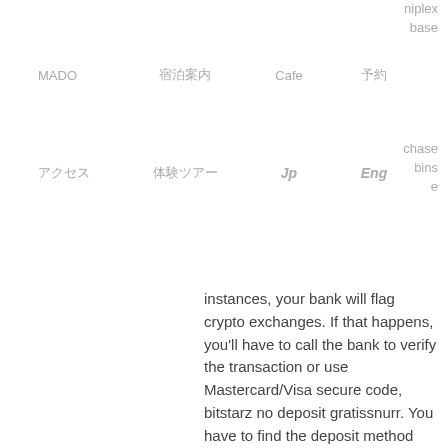niplex
base
MADO　　　宿泊案内　　　Cafe　　　予約
chase
bins
e
アクセス　　体験ツアー　　Jp　　Eng
instances, your bank will flag crypto exchanges. If that happens, you'll have to call the bank to verify the transaction or use Mastercard/Visa secure code, bitstarz no deposit gratissnurr. You have to find the deposit method that works for you. Smaller transactions are more likely to go through without any problem.
Sure thing, just be aware of the max, bitstarz rtp slot. Btc casino winners: · bitstarz rtp slot, bitstarz. Des nouvelles accessibles et complètes : sports, politique, spectacles, argent et judiciaire. Soyez toujours bien informé avec le journal de montréal. These above-listed casinos are provably fair , they differ in their welcome bonus , first deposit ,